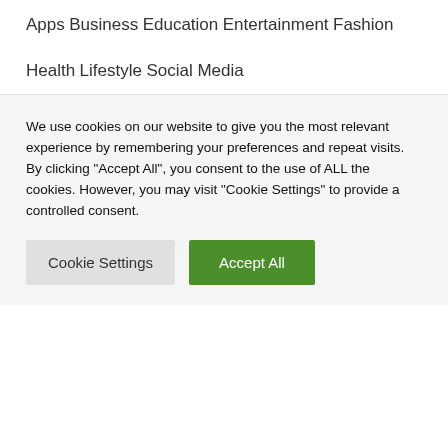Apps
Business
Education
Entertainment
Fashion
Health
Lifestyle
Social Media
We use cookies on our website to give you the most relevant experience by remembering your preferences and repeat visits. By clicking “Accept All”, you consent to the use of ALL the cookies. However, you may visit "Cookie Settings" to provide a controlled consent.
Cookie Settings | Accept All